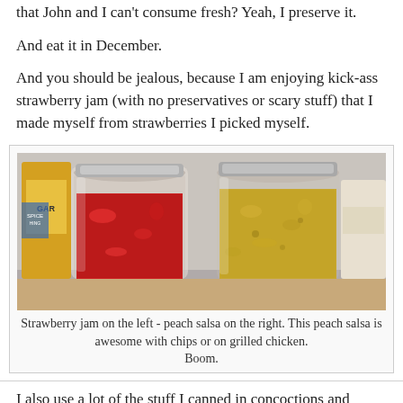that John and I can't consume fresh? Yeah, I preserve it.
And eat it in December.
And you should be jealous, because I am enjoying kick-ass strawberry jam (with no preservatives or scary stuff) that I made myself from strawberries I picked myself.
[Figure (photo): Two mason jars on a shelf: one filled with red strawberry jam on the left and one filled with yellow-green peach salsa on the right, with various pantry items visible in the background.]
Strawberry jam on the left - peach salsa on the right. This peach salsa is awesome with chips or on grilled chicken.
Boom.
I also use a lot of the stuff I canned in concoctions and...